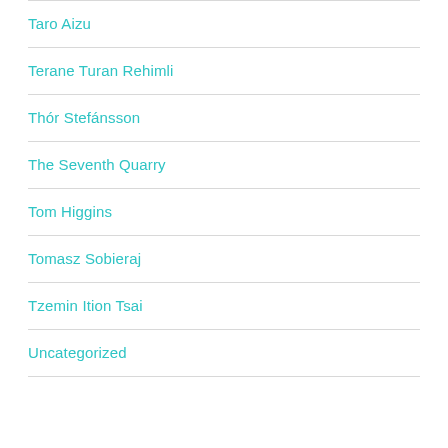Taro Aizu
Terane Turan Rehimli
Thór Stefánsson
The Seventh Quarry
Tom Higgins
Tomasz Sobieraj
Tzemin Ition Tsai
Uncategorized